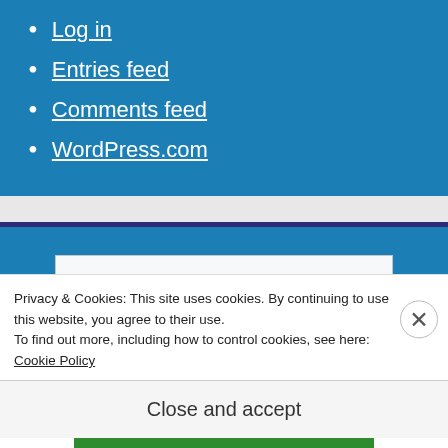Log in
Entries feed
Comments feed
WordPress.com
Search ...
Privacy & Cookies: This site uses cookies. By continuing to use this website, you agree to their use.
To find out more, including how to control cookies, see here: Cookie Policy
Close and accept